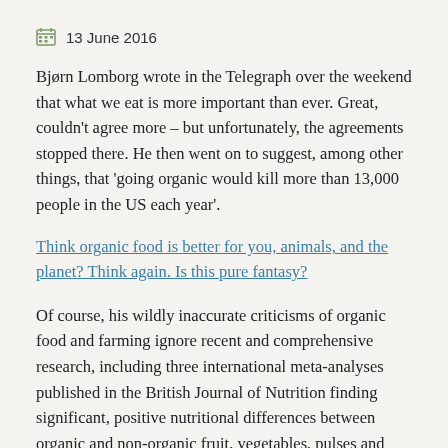13 June 2016
Bjørn Lomborg wrote in the Telegraph over the weekend that what we eat is more important than ever. Great, couldn't agree more – but unfortunately, the agreements stopped there. He then went on to suggest, among other things, that 'going organic would kill more than 13,000 people in the US each year'.
Think organic food is better for you, animals, and the planet? Think again. Is this pure fantasy?
Of course, his wildly inaccurate criticisms of organic food and farming ignore recent and comprehensive research, including three international meta-analyses published in the British Journal of Nutrition finding significant, positive nutritional differences between organic and non-organic fruit, vegetables, pulses and cereals, and between non-organic and organic milk